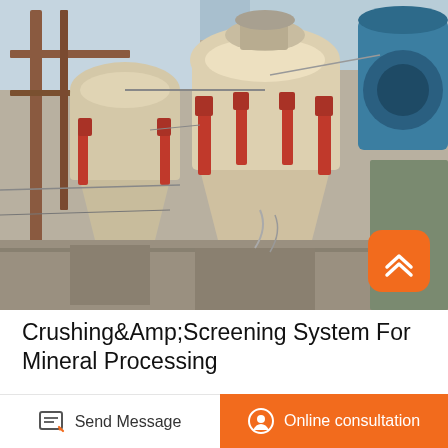[Figure (photo): Industrial crushing and screening machinery at a mineral processing plant. Multiple cone crushers visible with red hydraulic cylinders, beige/cream colored equipment, blue motor housing on right, steel framework and platforms, concrete base structure.]
Crushing&Amp;Screening System For Mineral Processing
In Mineral Processing Design and Operations (Second Edition), 2016. 3.3.3 Ball and …